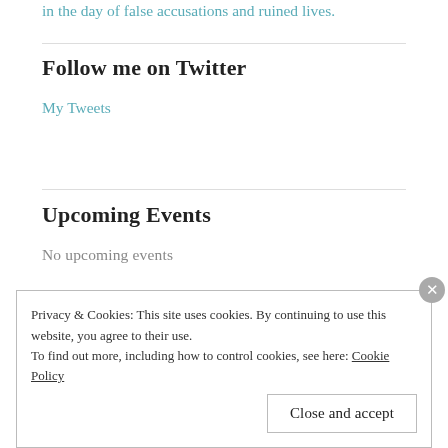in the day of false accusations and ruined lives.
Follow me on Twitter
My Tweets
Upcoming Events
No upcoming events
Privacy & Cookies: This site uses cookies. By continuing to use this website, you agree to their use.
To find out more, including how to control cookies, see here: Cookie Policy
Close and accept